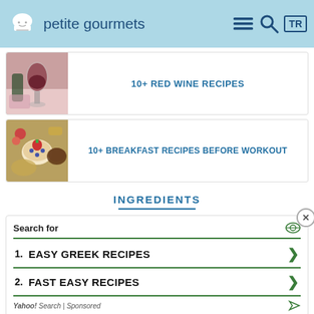petite gourmets
[Figure (photo): Red wine being poured into a glass on a pink background]
10+ RED WINE RECIPES
[Figure (photo): Overhead view of breakfast bowls with fruits, oats and seeds]
10+ BREAKFAST RECIPES BEFORE WORKOUT
INGREDIENTS
[Figure (infographic): Advertisement: Search for Easy Greek Recipes, Fast Easy Recipes - Yahoo Search Sponsored]